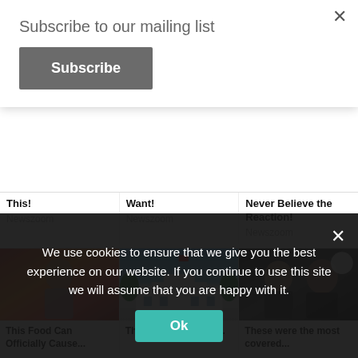Subscribe to our mailing list
Subscribe
This!
Newszoom
Want!
Newszoom
Never Believe the Reaction!
Newszoom
[Figure (photo): Woman holding chest, autumn background]
[Figure (photo): White House exterior with flag]
[Figure (photo): Celebrity couple at formal event]
This Food Can Officially Cause...
They Have Correctly...
These were the most covered...
We use cookies to ensure that we give you the best experience on our website. If you continue to use this site we will assume that you are happy with it.
Ok